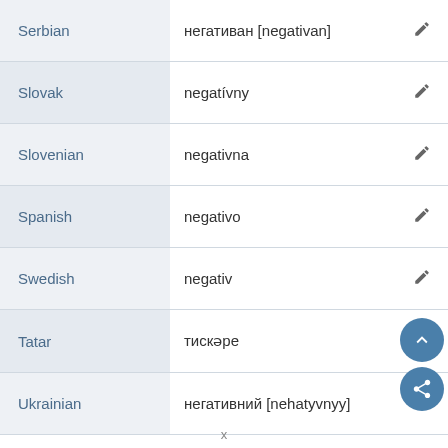| Language | Translation |  |
| --- | --- | --- |
| Serbian | негативан [negativan] | ✏ |
| Slovak | negatívny | ✏ |
| Slovenian | negativna | ✏ |
| Spanish | negativo | ✏ |
| Swedish | negativ | ✏ |
| Tatar | тискәре | ✏ |
| Ukrainian | негативний [nehatyvnyy] | ✏ |
x